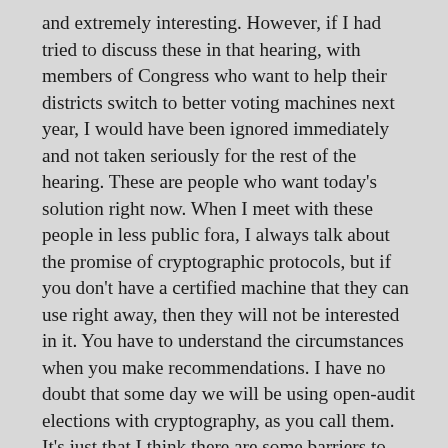and extremely interesting. However, if I had tried to discuss these in that hearing, with members of Congress who want to help their districts switch to better voting machines next year, I would have been ignored immediately and not taken seriously for the rest of the hearing. These are people who want today's solution right now. When I meet with these people in less public fora, I always talk about the promise of cryptographic protocols, but if you don't have a certified machine that they can use right away, then they will not be interested in it. You have to understand the circumstances when you make recommendations. I have no doubt that some day we will be using open-audit elections with cryptography, as you call them. It's just that I think there are some barriers to adoption related to complexity, awareness, education, and availability of off the shelf products.